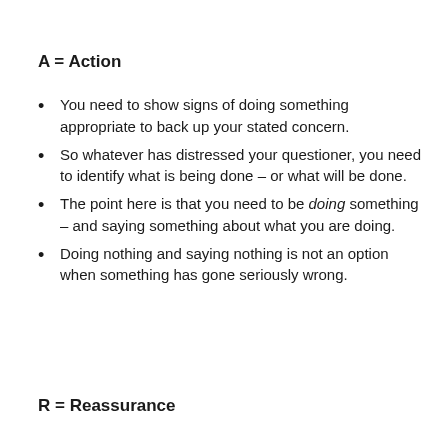A = Action
You need to show signs of doing something appropriate to back up your stated concern.
So whatever has distressed your questioner, you need to identify what is being done – or what will be done.
The point here is that you need to be doing something – and saying something about what you are doing.
Doing nothing and saying nothing is not an option when something has gone seriously wrong.
R = Reassurance